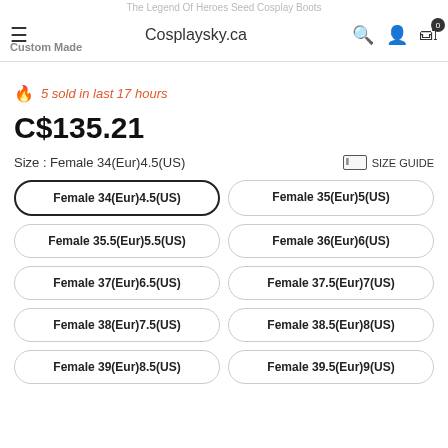The Legend Of Heroes Seed Cosplay Boots | Cosplaysky.ca | Custom Made
5 sold in last 17 hours
C$135.21
Size : Female 34(Eur)4.5(US)
Female 34(Eur)4.5(US)
Female 35(Eur)5(US)
Female 35.5(Eur)5.5(US)
Female 36(Eur)6(US)
Female 37(Eur)6.5(US)
Female 37.5(Eur)7(US)
Female 38(Eur)7.5(US)
Female 38.5(Eur)8(US)
Female 39(Eur)8.5(US)
Female 39.5(Eur)9(US)